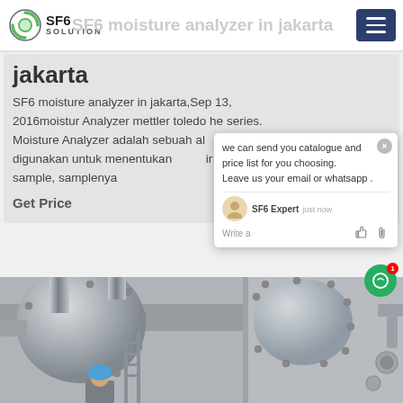SF6 SOLUTION — SF6 moisture analyzer in jakarta
jakarta
SF6 moisture analyzer in jakarta,Sep 13, 2016moistur Analyzer mettler toledo he series. Moisture Analyzer adalah sebuah alat ukur yang digunakan untuk menentukan kadar air pada suatu sample, samplenya
Get Price
[Figure (screenshot): Chat popup overlay with message: we can send you catalogue and price list for you choosing. Leave us your email or whatsapp. SF6 Expert just now. Write a [thumbs up] [paperclip]]
[Figure (photo): Industrial equipment photo showing large cylindrical SF6 gas equipment/pipes with a worker wearing a blue hard hat in the foreground]